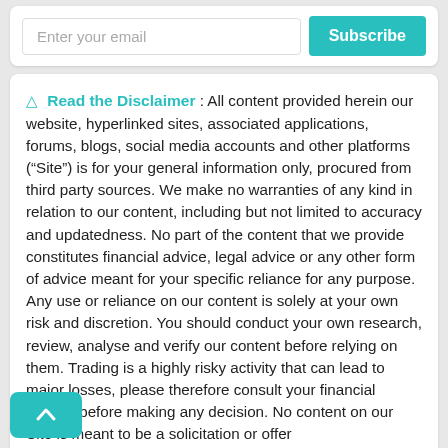Enter your email
Subscribe
Read the Disclaimer : All content provided herein our website, hyperlinked sites, associated applications, forums, blogs, social media accounts and other platforms (“Site”) is for your general information only, procured from third party sources. We make no warranties of any kind in relation to our content, including but not limited to accuracy and updatedness. No part of the content that we provide constitutes financial advice, legal advice or any other form of advice meant for your specific reliance for any purpose. Any use or reliance on our content is solely at your own risk and discretion. You should conduct your own research, review, analyse and verify our content before relying on them. Trading is a highly risky activity that can lead to major losses, please therefore consult your financial advisor before making any decision. No content on our Site is meant to be a solicitation or offer